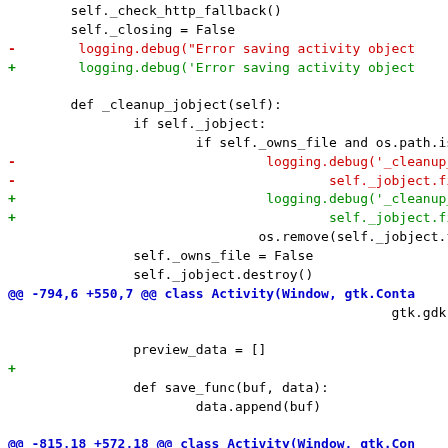[Figure (screenshot): Code diff showing Python source code changes with removed lines in red, added lines in green, hunk headers in blue, and context lines in black. Monospace font on white background.]